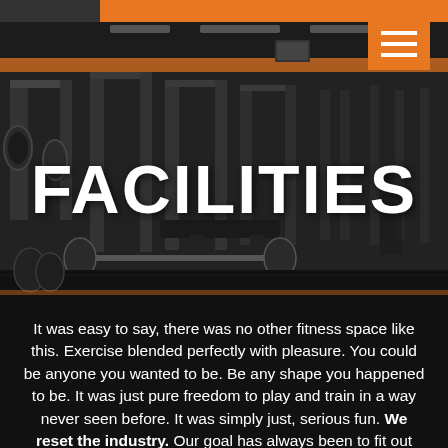[Figure (photo): Black and white interior photo of a gym with weight racks, barbells, benches, and exercise equipment. An orange accent stripe runs along the top of the gym wall. Dark, dramatic lighting.]
FACILITIES
It was easy to say, there was no other fitness space like this. Exercise blended perfectly with pleasure. You could be anyone you wanted to be. Be any shape you happened to be. It was just pure freedom to play and train in a way never seen before. It was simply just, serious fun. We reset the industry. Our goal has always been to fit out